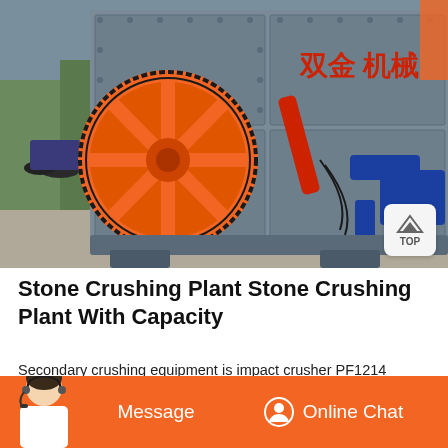[Figure (photo): Industrial stone crusher machine with large orange flywheel/pulley on the left side, grey metal body with bolted panels, blue hydraulic arm components on the right, Chinese characters in red on the upper right of the machine body reading 双金机械, photographed outdoors on a concrete surface with vehicles visible in background]
Stone Crushing Plant Stone Crushing Plant With Capacity
Secondary crushing equipment is impact crusher PF1214 whose capacity is 80-160 tph. For screening materials for different sizes, vibrating screen
Message
Online Chat